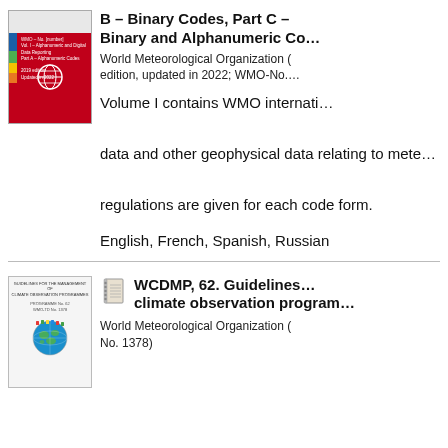[Figure (illustration): Red WMO book cover with colored stripes and WMO logo]
B – Binary Codes, Part C – Binary and Alphanumeric Co…
World Meteorological Organization (…edition, updated in 2022; WMO-No.…
Volume I contains WMO internati… data and other geophysical data relating to mete… regulations are given for each code form.
English, French, Spanish, Russian
[Figure (illustration): White document cover with WCDMP text and globe logo]
WCDMP, 62. Guidelines… climate observation program…
World Meteorological Organization (…No. 1378)